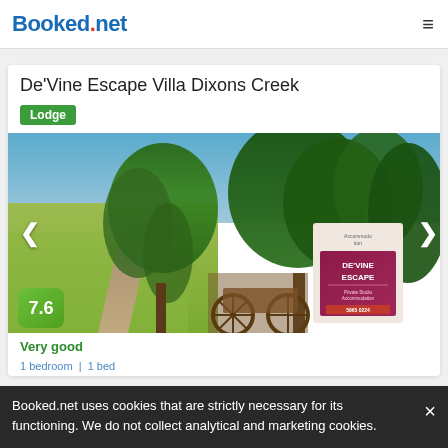Booked.net
De'Vine Escape Villa Dixons Creek
Lodge
[Figure (photo): Outdoor photo of a country property showing a dirt road, green fields, large willow and leafy trees, an old wooden wagon wheel fence, and a De'Vine Escape accommodation sign. Score badge showing 7.6 in bottom left corner.]
Very good
Booked.net uses cookies that are strictly necessary for its functioning. We do not collect analytical and marketing cookies.